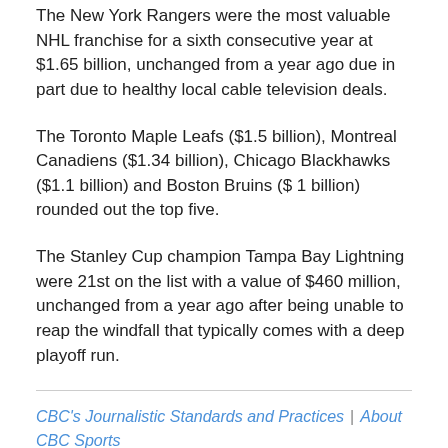The New York Rangers were the most valuable NHL franchise for a sixth consecutive year at $1.65 billion, unchanged from a year ago due in part due to healthy local cable television deals.
The Toronto Maple Leafs ($1.5 billion), Montreal Canadiens ($1.34 billion), Chicago Blackhawks ($1.1 billion) and Boston Bruins ($ 1 billion) rounded out the top five.
The Stanley Cup champion Tampa Bay Lightning were 21st on the list with a value of $460 million, unchanged from a year ago after being unable to reap the windfall that typically comes with a deep playoff run.
CBC's Journalistic Standards and Practices | About CBC Sports